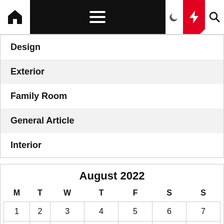Navigation bar with home, menu, moon, bolt, search icons
Design
Exterior
Family Room
General Article
Interior
| M | T | W | T | F | S | S |
| --- | --- | --- | --- | --- | --- | --- |
| 1 | 2 | 3 | 4 | 5 | 6 | 7 |
| 8 | 9 | 10 | 11 | 12 | 13 | 14 |